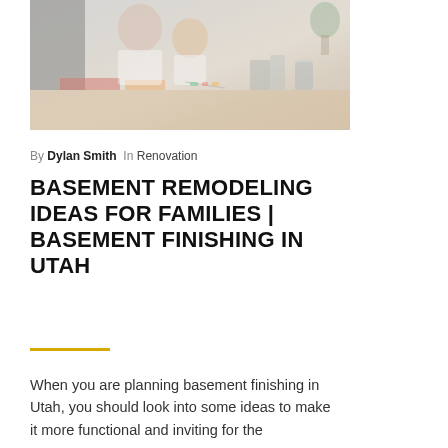[Figure (photo): A woman and child sitting together at a table, appearing to write or draw, with a blurred background including a chalkboard and colorful items on the table.]
By Dylan Smith  In Renovation
BASEMENT REMODELING IDEAS FOR FAMILIES | BASEMENT FINISHING IN UTAH
When you are planning basement finishing in Utah, you should look into some ideas to make it more functional and inviting for the